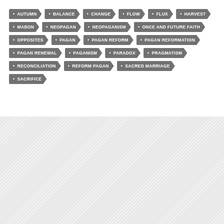AUTUMN
BALANCE
CHANGE
FLOW
FLUX
HARVEST
MABON
NEOPAGAN
NEOPAGANISM
ONCE AND FUTURE FAITH
OPPOSITES
PAGAN
PAGAN REFORM
PAGAN REFORMATION
PAGAN RENEWAL
PAGANISM
PARADOX
PRAGMATISM
RECONCILIATION
REFORM PAGAN
SACRED MARRIAGE
SACRIFICE
[Figure (other): Hatched/striped gray background pattern filling the lower half of the page]